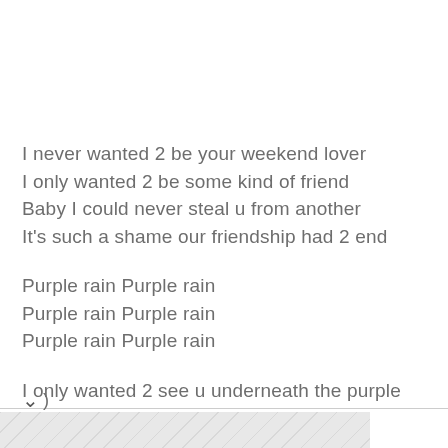I never wanted 2 be your weekend lover
I only wanted 2 be some kind of friend
Baby I could never steal u from another
It's such a shame our friendship had 2 end

Purple rain Purple rain
Purple rain Purple rain
Purple rain Purple rain

I only wanted 2 see u underneath the purple
)